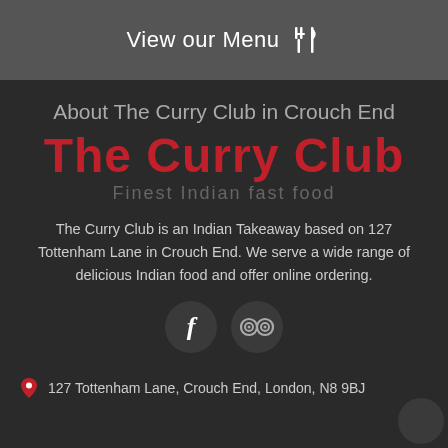View our Menu
About The Curry Club in Crouch End
[Figure (logo): The Curry Club logo with text 'The Curry Club' in bold red and tagline 'Finest Indian fast food' in grey below]
The Curry Club is an Indian Takeaway based on 127 Tottenham Lane in Crouch End. We serve a wide range of delicious Indian food and offer online ordering.
[Figure (infographic): Social media icons: Facebook circle and TripAdvisor circle]
127 Tottenham Lane, Crouch End, London, N8 9BJ